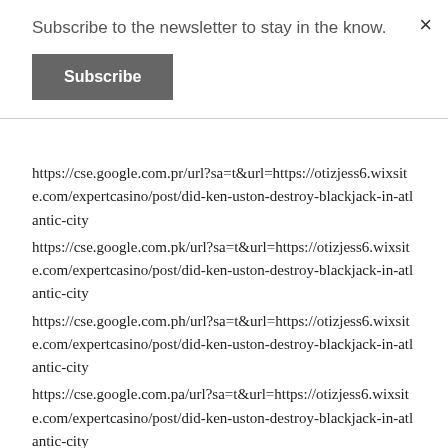Subscribe to the newsletter to stay in the know.
Subscribe
×
https://cse.google.com.pr/url?sa=t&url=https://otizjess6.wixsite.com/expertcasino/post/did-ken-uston-destroy-blackjack-in-atlantic-city
https://cse.google.com.pk/url?sa=t&url=https://otizjess6.wixsite.com/expertcasino/post/did-ken-uston-destroy-blackjack-in-atlantic-city
https://cse.google.com.ph/url?sa=t&url=https://otizjess6.wixsite.com/expertcasino/post/did-ken-uston-destroy-blackjack-in-atlantic-city
https://cse.google.com.pa/url?sa=t&url=https://otizjess6.wixsite.com/expertcasino/post/did-ken-uston-destroy-blackjack-in-atlantic-city
https://cse.google.com.om/url?